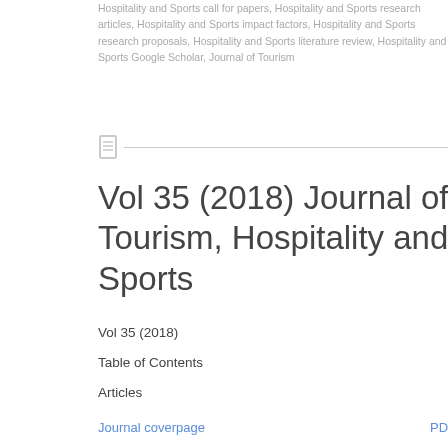Hospitality and Sports call for papers, Hospitality and Sports research articles, Hospitality and Sports impact factors, Hospitality and Sports research proposals, Hospitality and Sports literature review, Hospitality and Sports Google Scholar, Journal of Tourism
Vol 35 (2018) Journal of Tourism, Hospitality and Sports
Vol 35 (2018)
Table of Contents
Articles
Journal coverpage
PDF